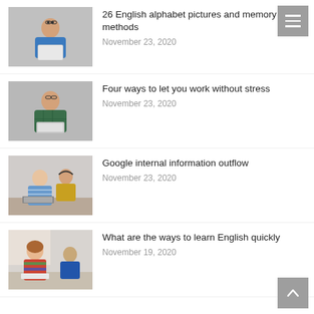[Figure (photo): Young man with glasses holding a blank white board, standing against a grey background]
26 English alphabet pictures and memory methods
November 23, 2020
[Figure (photo): Young man with glasses holding a laptop, wearing a plaid shirt, grey background]
Four ways to let you work without stress
November 23, 2020
[Figure (photo): Woman in striped shirt working on a laptop with a man in yellow hoodie sitting behind her in an office]
Google internal information outflow
November 23, 2020
[Figure (photo): Young girl in colorful jacket writing at a desk, another student in blue jacket visible in background]
What are the ways to learn English quickly
November 19, 2020